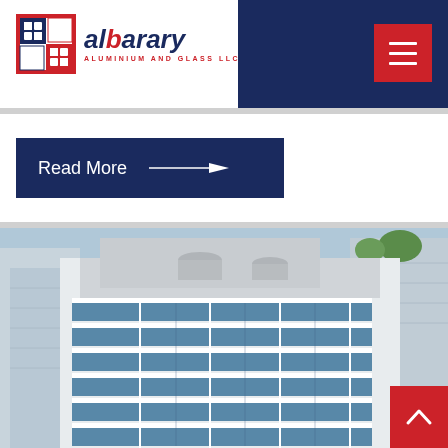[Figure (logo): Al Barary Aluminium and Glass LLC logo with red and blue grid icon and company name]
[Figure (other): Dark navy header background with red hamburger menu button (three horizontal white lines)]
Read More →
[Figure (photo): Aerial view of a modern multi-storey building with blue glass facade and white horizontal bands, surrounded by other city buildings]
[Figure (other): Red back-to-top button with white upward chevron arrow]